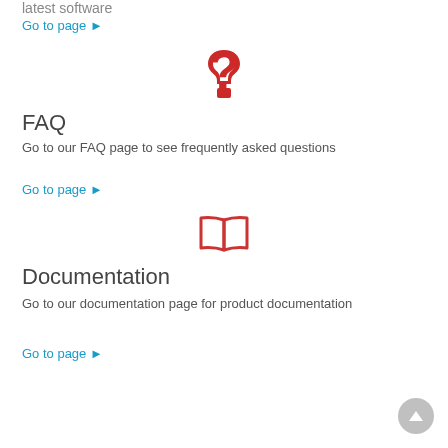latest software
Go to page ▶
[Figure (illustration): Red question mark icon]
FAQ
Go to our FAQ page to see frequently asked questions
Go to page ▶
[Figure (illustration): Red open book icon]
Documentation
Go to our documentation page for product documentation
Go to page ▶